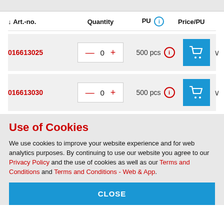| Art.-no. | Quantity | PU | Price/PU |
| --- | --- | --- | --- |
| 016613025 | 0 | 500 pcs |  |
| 016613030 | 0 | 500 pcs |  |
Use of Cookies
We use cookies to improve your website experience and for web analytics purposes. By continuing to use our website you agree to our Privacy Policy and the use of cookies as well as our Terms and Conditions and Terms and Conditions - Web & App.
CLOSE